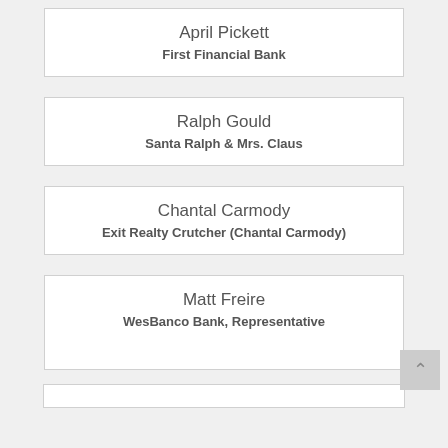April Pickett
First Financial Bank
Ralph Gould
Santa Ralph & Mrs. Claus
Chantal Carmody
Exit Realty Crutcher (Chantal Carmody)
Matt Freire
WesBanco Bank, Representative